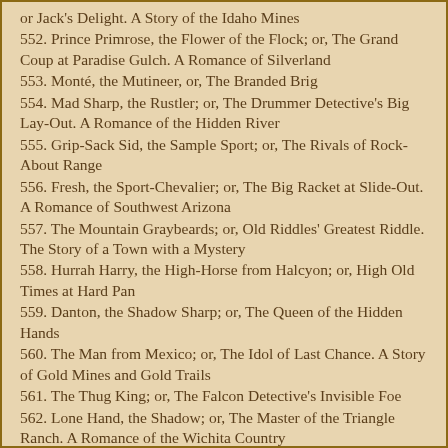or Jack's Delight. A Story of the Idaho Mines
552. Prince Primrose, the Flower of the Flock; or, The Grand Coup at Paradise Gulch. A Romance of Silverland
553. Monté, the Mutineer, or, The Branded Brig
554. Mad Sharp, the Rustler; or, The Drummer Detective's Big Lay-Out. A Romance of the Hidden River
555. Grip-Sack Sid, the Sample Sport; or, The Rivals of Rock-About Range
556. Fresh, the Sport-Chevalier; or, The Big Racket at Slide-Out. A Romance of Southwest Arizona
557. The Mountain Graybeards; or, Old Riddles' Greatest Riddle. The Story of a Town with a Mystery
558. Hurrah Harry, the High-Horse from Halcyon; or, High Old Times at Hard Pan
559. Danton, the Shadow Sharp; or, The Queen of the Hidden Hands
560. The Man from Mexico; or, The Idol of Last Chance. A Story of Gold Mines and Gold Trails
561. The Thug King; or, The Falcon Detective's Invisible Foe
562. Lone Hand, the Shadow; or, The Master of the Triangle Ranch. A Romance of the Wichita Country
563. [partially visible]